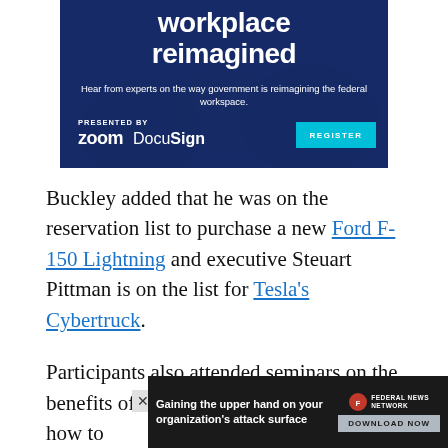[Figure (screenshot): Advertisement banner for 'workplace reimagined' event presented by Zoom and DocuSign with a Register button]
Buckley added that he was on the reservation list to purchase a new Ford F-150 Lightning and executive Steuart Pittman is on the list for Tesla's Cybertruck.
Participants also attended seminars on the benefits of switching to electric as well as how to hand [partially obscured] lling cha[partially obscured]
[Figure (screenshot): Bottom ad overlay: 'Gaining the upper hand on your organization's attack surface' by Federal News Network with Download Now button]